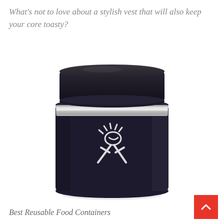What's not to love about a stylish vest that will also keep your core toasty?
[Figure (photo): A dark navy/black Hydro Flask insulated food jar with a black lid. The jar has the Hydro Flask logo (a hand with rays above it and an X shape below) in white on the front. The container has a metallic silver band near the top rim where the lid sits. The product is photographed on a white background.]
Best Reusable Food Containers